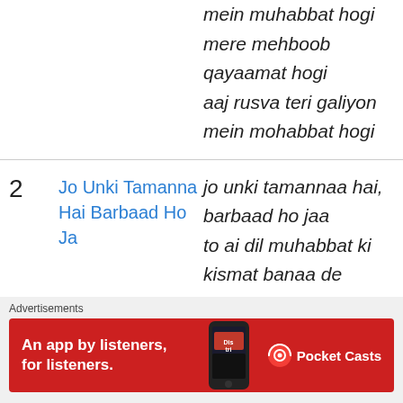mein muhabbat hogi
mere mehboob
qayaamat hogi
aaj rusva teri galiyon
mein mohabbat hogi
2  Jo Unki Tamanna Hai Barbaad Ho Ja  —  jo unki tamannaa hai, barbaad ho jaa
to ai dil muhabbat ki kismat banaa de
tadap aur tadap kar abhi jaan de de
yoon marte hain mar
Advertisements
[Figure (illustration): Pocket Casts advertisement banner: red background with phone graphic, text 'An app by listeners, for listeners.' and Pocket Casts logo]